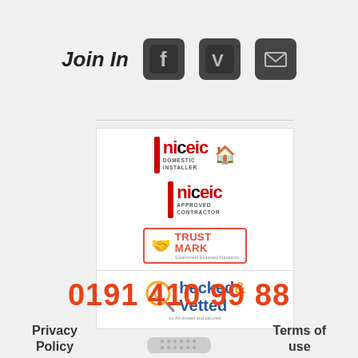Join In
[Figure (logo): Facebook icon (dark square with f logo)]
[Figure (logo): Vimeo icon (dark square with V logo)]
[Figure (logo): Email/envelope icon (dark square)]
[Figure (logo): NICEIC Domestic Installer certification logo]
[Figure (logo): NICEIC Approved Contractor certification logo]
[Figure (logo): TrustMark Government Endorsed Standards logo]
[Figure (logo): Checked & Vetted logo]
Privacy Policy
Terms of use
0191 410 99 88